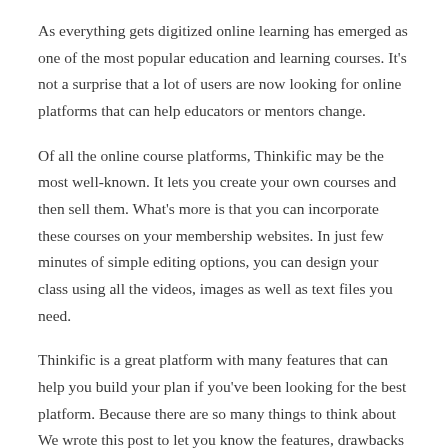As everything gets digitized online learning has emerged as one of the most popular education and learning courses. It's not a surprise that a lot of users are now looking for online platforms that can help educators or mentors change.
Of all the online course platforms, Thinkific may be the most well-known. It lets you create your own courses and then sell them. What's more is that you can incorporate these courses on your membership websites. In just few minutes of simple editing options, you can design your class using all the videos, images as well as text files you need.
Thinkific is a great platform with many features that can help you build your plan if you've been looking for the best platform. Because there are so many things to think about We wrote this post to let you know the features, drawbacks and advantages.
Although we do need to warn you that this is a very long post. If